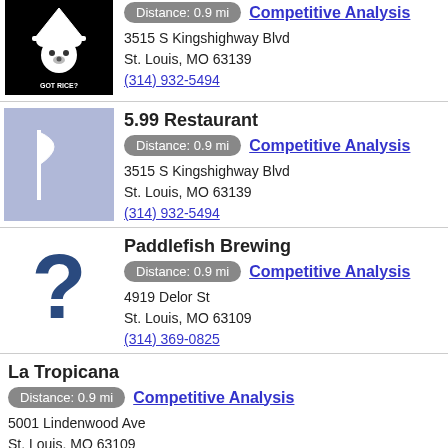[Figure (logo): Got Rice? restaurant logo - cartoon bear with hat on black background]
Distance: 0.9 mi  Competitive Analysis
3515 S Kingshighway Blvd
St. Louis, MO 63139
(314) 932-5494
5.99 Restaurant
Distance: 0.9 mi  Competitive Analysis
3515 S Kingshighway Blvd
St. Louis, MO 63139
(314) 932-5494
[Figure (illustration): White flag icon on blue/grey background]
Paddlefish Brewing
Distance: 0.9 mi  Competitive Analysis
4919 Delor St
St. Louis, MO 63109
(314) 369-0825
[Figure (illustration): Dark blue question mark icon]
La Tropicana
Distance: 0.9 mi  Competitive Analysis
5001 Lindenwood Ave
St. Louis, MO 63109
(314) 575-1469